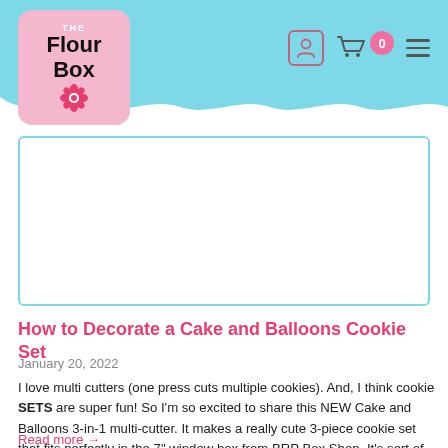The Flour Box
[Figure (photo): Large image placeholder with teal border, presumably showing a Cake and Balloons cookie set]
How to Decorate a Cake and Balloons Cookie Set
January 20, 2022
I love multi cutters (one press cuts multiple cookies). And, I think cookie SETS are super fun! So I'm so excited to share this NEW Cake and Balloons 3-in-1 multi-cutter. It makes a really cute 3-piece cookie set that fits perfectly in the 7" window box from BRP Box Shop. It's sort of like a cookie puzzle!!
Read more →